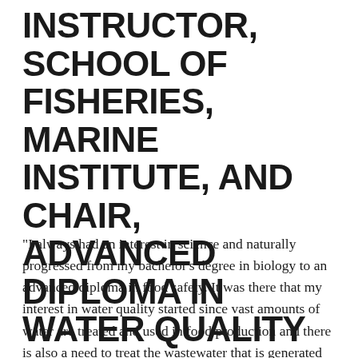INSTRUCTOR, SCHOOL OF FISHERIES, MARINE INSTITUTE, AND CHAIR, ADVANCED DIPLOMA IN WATER QUALITY
"I always had an interest in science and naturally progressed from my bachelor’s degree in biology to an advanced diploma in food safety. It was there that my interest in water quality started since vast amounts of water are treated and used in food production and there is also a need to treat the wastewater that is generated in food production ... It makes me sad to think that everyone does not have access to clean water and sanitation and the impact it has on individuals, families, communities and